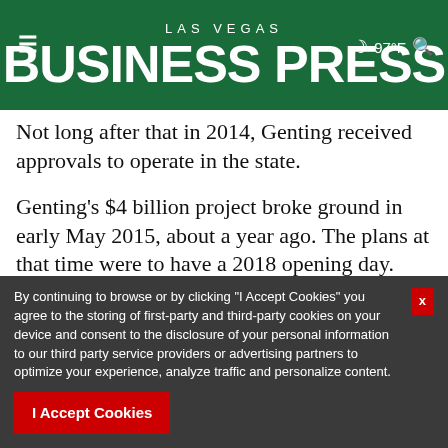LAS VEGAS BUSINESS PRESS
Not long after that in 2014, Genting received approvals to operate in the state.
Genting's $4 billion project broke ground in early May 2015, about a year ago. The plans at that time were to have a 2018 opening day.
In a recent report from the Associated Press, the cost of the project is being pinpointed to have an opening day in early 2019.
…site include 3,500 rooms and
By continuing to browse or by clicking “I Accept Cookies” you agree to the storing of first-party and third-party cookies on your device and consent to the disclosure of your personal information to our third party service providers or advertising partners to optimize your experience, analyze traffic and personalize content.

I Accept Cookies